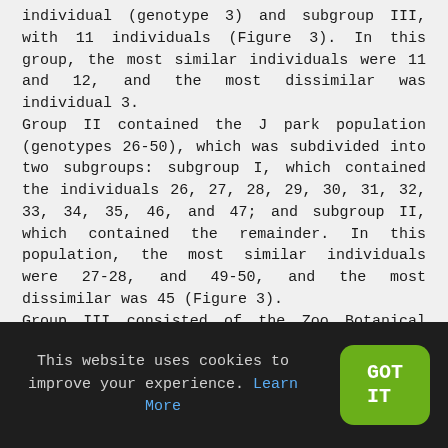individual (genotype 3) and subgroup III, with 11 individuals (Figure 3). In this group, the most similar individuals were 11 and 12, and the most dissimilar was individual 3. Group II contained the J park population (genotypes 26-50), which was subdivided into two subgroups: subgroup I, which contained the individuals 26, 27, 28, 29, 30, 31, 32, 33, 34, 35, 46, and 47; and subgroup II, which contained the remainder. In this population, the most similar individuals were 27-28, and 49-50, and the most dissimilar was 45 (Figure 3). Group III consisted of the Zoo Botanical park population (genotypes 51-75), which contained three subgroups: subgroup I, which included only two individuals (52 and 53); subgroup II, which contained nine genotypes; and subgroup III, which contained the remaining 14 T. speciosum plants. The most similar individuals were 59, 60, 64, and 66, and the most dissimilar was 51
This website uses cookies to improve your experience. Learn More